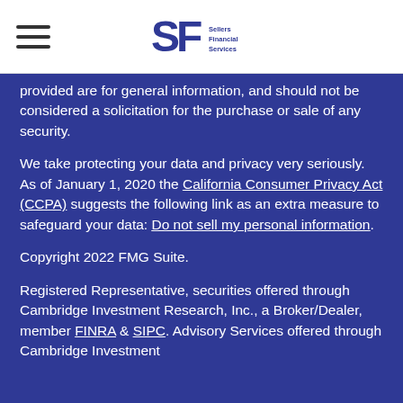Sellers Financial Services [logo]
provided are for general information, and should not be considered a solicitation for the purchase or sale of any security.
We take protecting your data and privacy very seriously. As of January 1, 2020 the California Consumer Privacy Act (CCPA) suggests the following link as an extra measure to safeguard your data: Do not sell my personal information.
Copyright 2022 FMG Suite.
Registered Representative, securities offered through Cambridge Investment Research, Inc., a Broker/Dealer, member FINRA & SIPC. Advisory Services offered through Cambridge Investment Research Advisors, Inc., a Registered Investment Adviser.